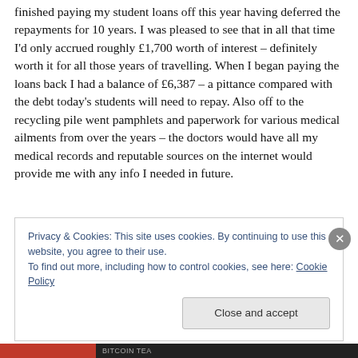finished paying my student loans off this year having deferred the repayments for 10 years. I was pleased to see that in all that time I'd only accrued roughly £1,700 worth of interest – definitely worth it for all those years of travelling. When I began paying the loans back I had a balance of £6,387 – a pittance compared with the debt today's students will need to repay. Also off to the recycling pile went pamphlets and paperwork for various medical ailments from over the years – the doctors would have all my medical records and reputable sources on the internet would provide me with any info I needed in future.
Privacy & Cookies: This site uses cookies. By continuing to use this website, you agree to their use. To find out more, including how to control cookies, see here: Cookie Policy
Close and accept